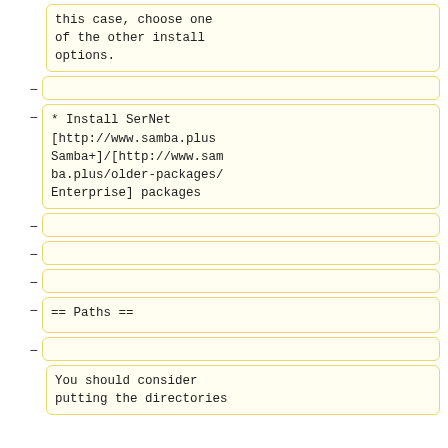this case, choose one of the other install options.
* Install SerNet [http://www.samba.plus Samba+]/[http://www.samba.plus/older-packages/ Enterprise] packages
== Paths ==
You should consider putting the directories